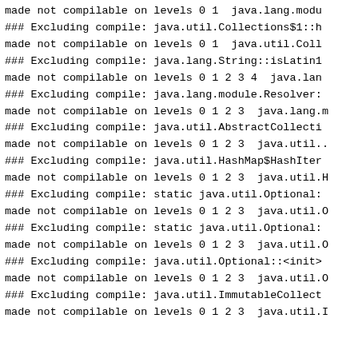made not compilable on levels 0 1  java.lang.modu
### Excluding compile: java.util.Collections$1::h
made not compilable on levels 0 1  java.util.Coll
### Excluding compile: java.lang.String::isLatin1
made not compilable on levels 0 1 2 3 4  java.lan
### Excluding compile: java.lang.module.Resolver:
made not compilable on levels 0 1 2 3  java.lang.m
### Excluding compile: java.util.AbstractCollecti
made not compilable on levels 0 1 2 3  java.util.
### Excluding compile: java.util.HashMap$HashIter
made not compilable on levels 0 1 2 3  java.util.H
### Excluding compile: static java.util.Optional:
made not compilable on levels 0 1 2 3  java.util.O
### Excluding compile: static java.util.Optional:
made not compilable on levels 0 1 2 3  java.util.O
### Excluding compile: java.util.Optional::<init>
made not compilable on levels 0 1 2 3  java.util.O
### Excluding compile: java.util.ImmutableCollect
made not compilable on levels 0 1 2 3  java.util.I